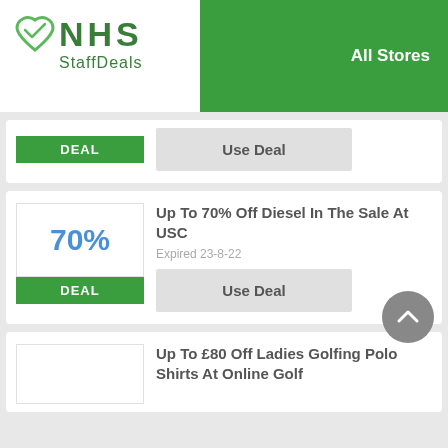[Figure (logo): NHS StaffDeals logo with green heart and checkmark icon]
All Stores
DEAL
Use Deal
Up To 70% Off Diesel In The Sale At USC
Expired 23-8-22
DEAL
Use Deal
Up To £80 Off Ladies Golfing Polo Shirts At Online Golf